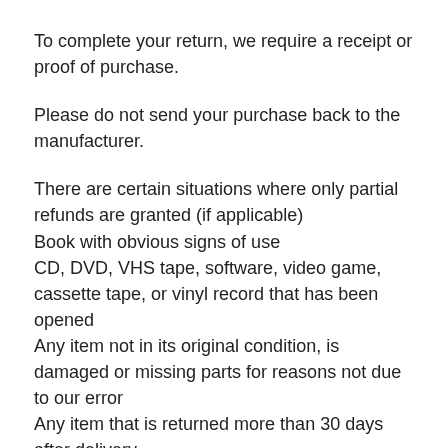To complete your return, we require a receipt or proof of purchase.
Please do not send your purchase back to the manufacturer.
There are certain situations where only partial refunds are granted (if applicable)
Book with obvious signs of use
CD, DVD, VHS tape, software, video game, cassette tape, or vinyl record that has been opened
Any item not in its original condition, is damaged or missing parts for reasons not due to our error
Any item that is returned more than 30 days after delivery
Refunds (if applicable)
Once your return is received and inspected, we will send you an email to notify you that we have received your return item. We will also notify you of the approval or